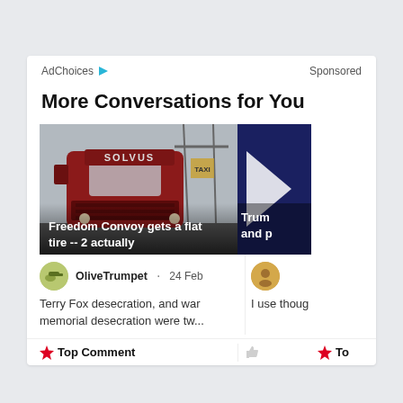AdChoices ▶  Sponsored
More Conversations for You
[Figure (photo): Red Solvus semi-truck cab in foggy conditions with overhead gantry signs]
Freedom Convoy gets a flat tire -- 2 actually
[Figure (photo): Dark blue background with white arrow shape, partial text Trum and p visible]
Trum and p
OliveTrumpet · 24 Feb
Terry Fox desecration, and war memorial desecration were tw...
I use thoug
🔥 Top Comment
🔥 To